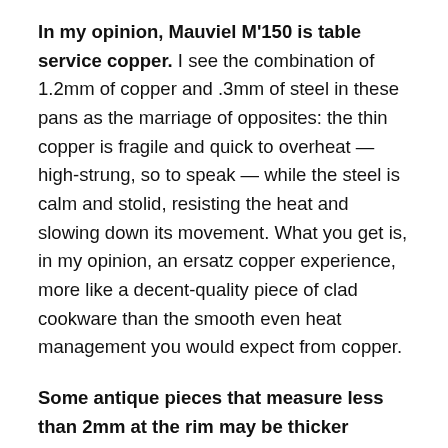In my opinion, Mauviel M'150 is table service copper. I see the combination of 1.2mm of copper and .3mm of steel in these pans as the marriage of opposites: the thin copper is fragile and quick to overheat — high-strung, so to speak — while the steel is calm and stolid, resisting the heat and slowing down its movement. What you get is, in my opinion, an ersatz copper experience, more like a decent-quality piece of clad cookware than the smooth even heat management you would expect from copper.
Some antique pieces that measure less than 2mm at the rim may be thicker towards the base. The base is the business end of a pan, and thick copper here gives you the most benefit. You should always consider a pan's weight to be a